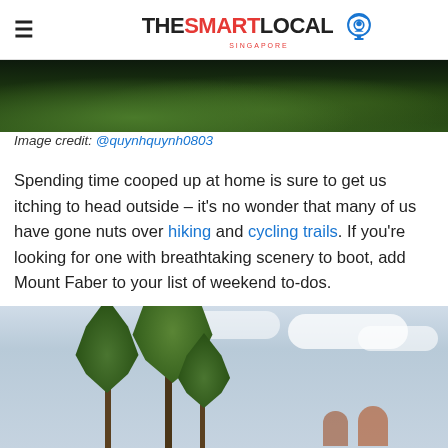THE SMART LOCAL SINGAPORE
[Figure (photo): Cropped top portion of a nature/outdoor photo showing dark green foliage against a dark background]
Image credit: @quynhquynh0803
Spending time cooped up at home is sure to get us itching to head outside – it's no wonder that many of us have gone nuts over hiking and cycling trails. If you're looking for one with breathtaking scenery to boot, add Mount Faber to your list of weekend to-dos.
[Figure (photo): Outdoor photo showing tall slender palm-like trees against a cloudy sky, with people visible at the bottom]